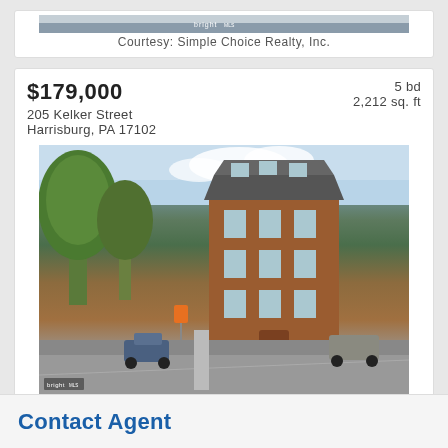[Figure (photo): Partial top of a property photo with bright MLS logo, cropped at top of page]
Courtesy: Simple Choice Realty, Inc.
$179,000
205 Kelker Street
Harrisburg, PA 17102
5 bd
2,212 sq. ft
[Figure (photo): Street view photo of a multi-story brick Victorian rowhouse corner building in Harrisburg PA, with trees on left and street in foreground. Bright MLS watermark in lower left.]
Courtesy: Iron Valley Real Estate of Central PA
$55,000
2011 Logan Street
Harrisburg, PA 17102
4 bd
1,116 sq. ft
[Figure (photo): Partial top of a property photo, cropped at bottom of page]
Contact Agent